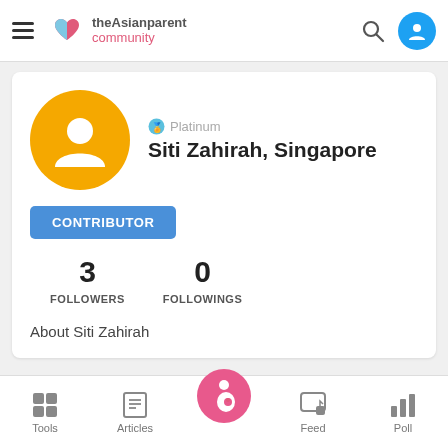theAsianparent community
[Figure (screenshot): User profile avatar: gold circle with white person silhouette]
Platinum
Siti Zahirah, Singapore
CONTRIBUTOR
3 FOLLOWERS   0 FOLLOWINGS
About Siti Zahirah
Tools   Articles   Feed   Poll